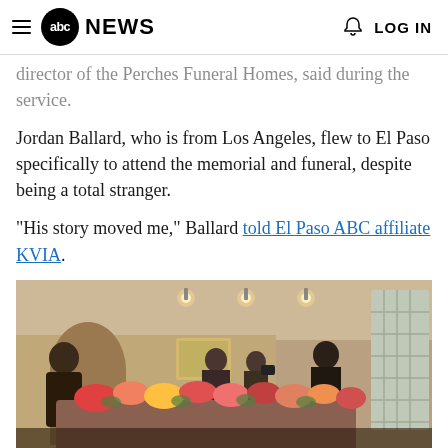abc NEWS  LOG IN
...director of the Perches Funeral Homes, said during the service.
Jordan Ballard, who is from Los Angeles, flew to El Paso specifically to attend the memorial and funeral, despite being a total stranger.
"His story moved me," Ballard told El Paso ABC affiliate KVIA.
[Figure (photo): Interior of a funeral home with people gathered around a casket covered in colorful flowers, including roses. A man in a suit stands at left, others are visible in the background. Ceiling lights visible above, brick window wall at right.]